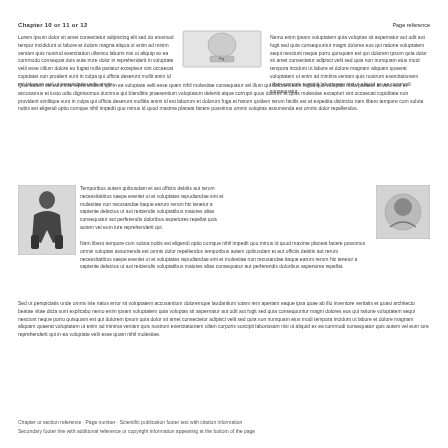Chapter 10 or 11 or 12
Body text describing scientific content related to the chapter topic with details and references appearing across the top of the page in two column layout.
[Figure (illustration): Small illustration or diagram in the center-top of the page, showing a schematic or photo element within a box.]
Additional body text in the right column continuing the scientific description or methodology.
[Figure (illustration): A dark figure illustration on the left side of the page mid-section, appearing to show a person or specimen.]
Body text continuing in multiple columns across the middle and lower sections of the page.
[Figure (illustration): Smaller illustration or diagram on the mid-right side of the page.]
Continued body text with scientific descriptions across the lower portion of the page.
Chapter or section footer with page number and chapter reference.